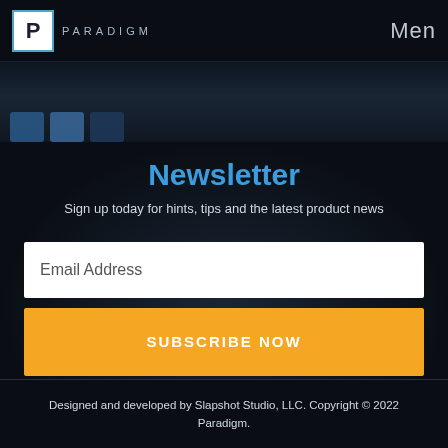P PARADIGM Menu
Newsletter
Sign up today for hints, tips and the latest product news
Email Address
SUBSCRIBE NOW
Designed and developed by Slapshot Studio, LLC. Copyright © 2022 Paradigm.